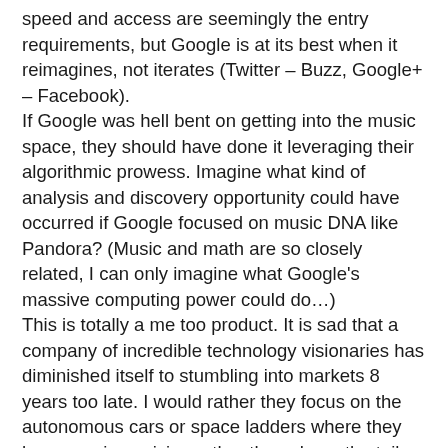speed and access are seemingly the entry requirements, but Google is at its best when it reimagines, not iterates (Twitter – Buzz, Google+ – Facebook).
If Google was hell bent on getting into the music space, they should have done it leveraging their algorithmic prowess. Imagine what kind of analysis and discovery opportunity could have occurred if Google focused on music DNA like Pandora? (Music and math are so closely related, I can only imagine what Google's massive computing power could do…)
This is totally a me too product. It is sad that a company of incredible technology visionaries has diminished itself to stumbling into markets 8 years too late. I would rather they focus on the autonomous cars or space ladders where they have a unique vision rather than chase the tail lights of a bus that has already left the station.